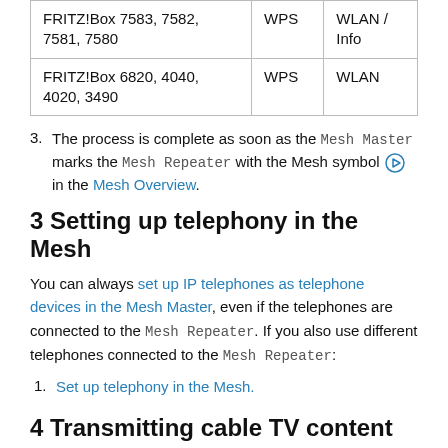| FRITZ!Box 7583, 7582, 7581, 7580 | WPS | WLAN / Info |
| FRITZ!Box 6820, 4040, 4020, 3490 | WPS | WLAN |
3. The process is complete as soon as the Mesh Master marks the Mesh Repeater with the Mesh symbol [icon] in the Mesh Overview.
3 Setting up telephony in the Mesh
You can always set up IP telephones as telephone devices in the Mesh Master, even if the telephones are connected to the Mesh Repeater. If you also use different telephones connected to the Mesh Repeater:
1. Set up telephony in the Mesh.
4 Transmitting cable TV content